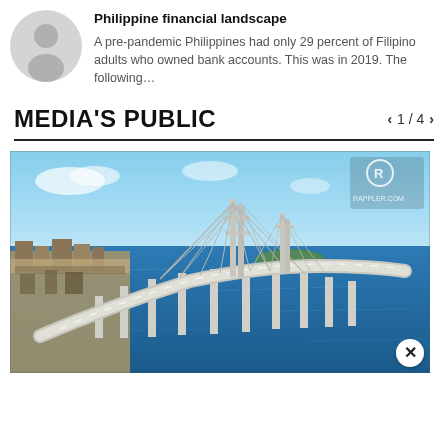[Figure (illustration): Gray circular avatar/profile icon placeholder]
Philippine financial landscape
A pre-pandemic Philippines had only 29 percent of Filipino adults who owned bank accounts. This was in 2019. The following…
MEDIA'S PUBLIC
1 / 4
[Figure (photo): Aerial photograph of a long cable-stayed bridge curving over blue water, with city and port visible on the left. Rappler.com watermark visible in top right corner.]